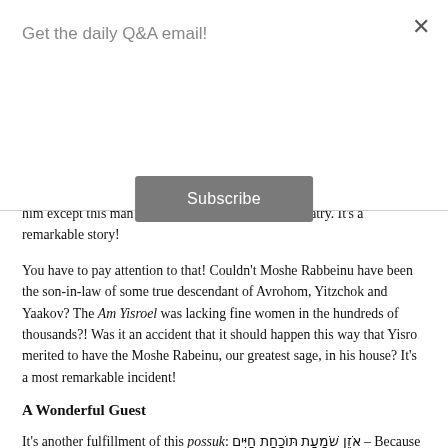Get the daily Q&A email!
Subscribe
him except this man who was a gentile priest of idolatry. It's a remarkable story!
You have to pay attention to that! Couldn't Moshe Rabbeinu have been the son-in-law of some true descendant of Avrohom, Yitzchok and Yaakov? The Am Yisroel was lacking fine women in the hundreds of thousands?! Was it an accident that it should happen this way that Yisro merited to have the Moshe Rabeinu, our greatest sage, in his house? It's a most remarkable incident!
A Wonderful Guest
It's another fulfillment of this possuk: אֹזֶן שֹׁמַעַת תּוֹכַחַת חַיִּים – Because Yisro developed an ear that listened to mussar so Hakodosh Boruch Hu helped him out. "If that's the case,"